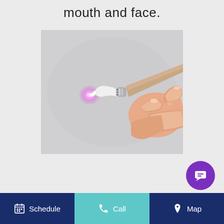mouth and face.
[Figure (photo): A hand holding a dental laser instrument with a white curved tip emitting a pink/purple laser light glow, against a light gray background.]
Schedule   Call   Map